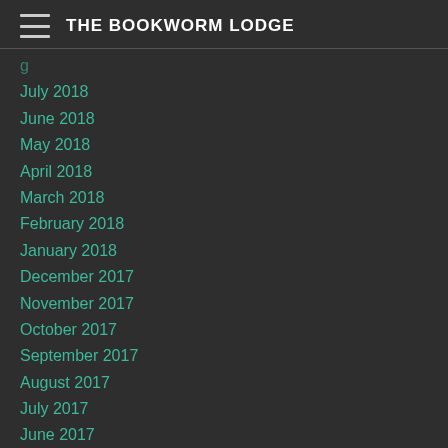THE BOOKWORM LODGE
July 2018
June 2018
May 2018
April 2018
March 2018
February 2018
January 2018
December 2017
November 2017
October 2017
September 2017
August 2017
July 2017
June 2017
May 2017
April 2017
March 2017